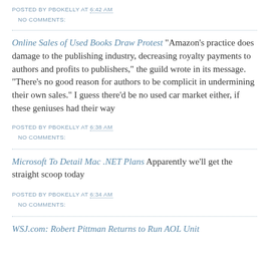POSTED BY PBOKELLY AT 6:42 AM
NO COMMENTS:
Online Sales of Used Books Draw Protest "Amazon's practice does damage to the publishing industry, decreasing royalty payments to authors and profits to publishers," the guild wrote in its message. "There's no good reason for authors to be complicit in undermining their own sales." I guess there'd be no used car market either, if these geniuses had their way
POSTED BY PBOKELLY AT 6:38 AM
NO COMMENTS:
Microsoft To Detail Mac .NET Plans Apparently we'll get the straight scoop today
POSTED BY PBOKELLY AT 6:34 AM
NO COMMENTS:
WSJ.com: Robert Pittman Returns to Run AOL Unit